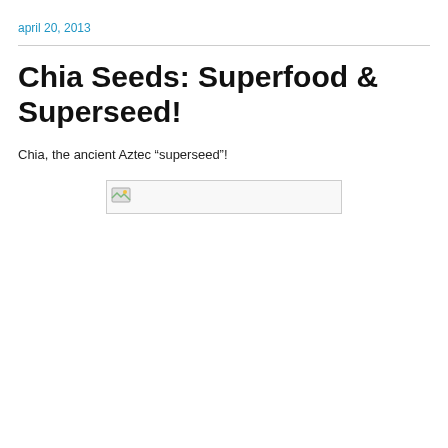april 20, 2013
Chia Seeds: Superfood & Superseed!
Chia, the ancient Aztec “superseed”!
[Figure (photo): Broken/missing image placeholder box]